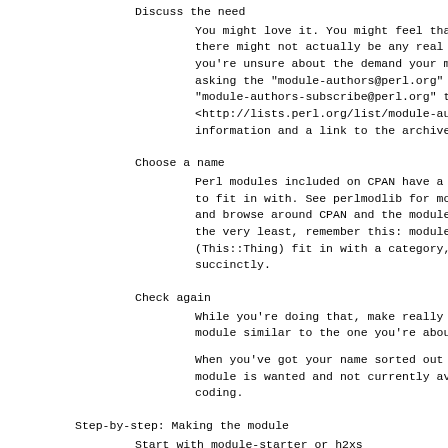Discuss the need
You might love it. You might feel that everyone there might not actually be any real demand for you're unsure about the demand your module will asking the "module-authors@perl.org" mailing li "module-authors-subscribe@perl.org" to subscrib <http://lists.perl.org/list/module-authors.htm information and a link to the archives).
Choose a name
Perl modules included on CPAN have a naming hie to fit in with. See perlmodlib for more details and browse around CPAN and the modules list to the very least, remember this: modules should b (This::Thing) fit in with a category, and expl succinctly.
Check again
While you're doing that, make really sure you h module similar to the one you're about to write
When you've got your name sorted out and you're module is wanted and not currently available, i coding.
Step-by-step: Making the module
Start with module-starter or h2xs
The module-starter utility is distributed as pa Module::Starter CPAN package. It creates a dir all the necessary files to start a new module,